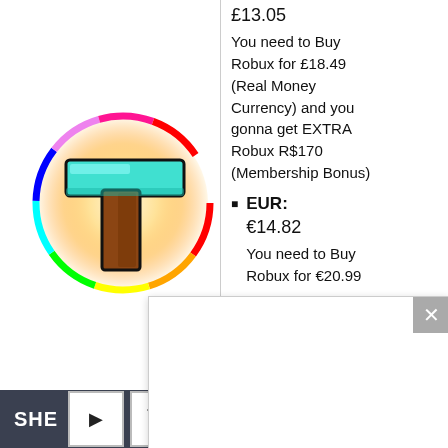[Figure (illustration): Roblox-style circular logo with rainbow border, showing a cyan/teal hammer-like 'T' shape with brown handle on a glowing golden/white radial background]
£13.05
You need to Buy Robux for £18.49 (Real Money Currency) and you gonna get EXTRA Robux R$170 (Membership Bonus)
EUR:
€14.82
You need to Buy Robux for €20.99
[Figure (screenshot): White popup/dialog overlay with an X close button in the top-right corner (grey background)]
SHE ▶ 🔇